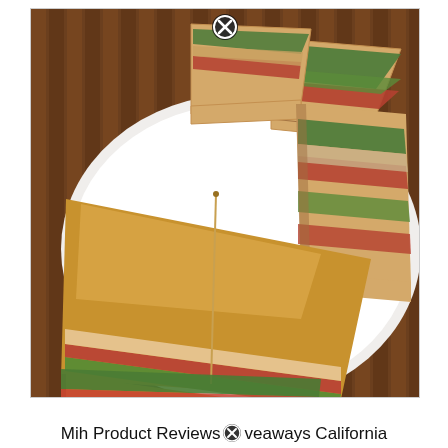[Figure (photo): A club sandwich cut into triangles and stacked on a white plate, showing layers of toasted bread, turkey, bacon, avocado, lettuce and tomato. A toothpick holds one piece together. The plate sits on a bamboo/wooden mat background. A close/dismiss button (circled X) appears at the top center of the image frame.]
Mih Product Reviews Giveaways California